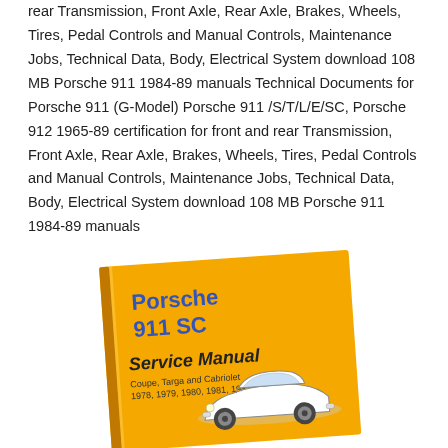rear Transmission, Front Axle, Rear Axle, Brakes, Wheels, Tires, Pedal Controls and Manual Controls, Maintenance Jobs, Technical Data, Body, Electrical System download 108 MB Porsche 911 1984-89 manuals Technical Documents for Porsche 911 (G-Model) Porsche 911 /S/T/L/E/SC, Porsche 912 1965-89 certification for front and rear Transmission, Front Axle, Rear Axle, Brakes, Wheels, Tires, Pedal Controls and Manual Controls, Maintenance Jobs, Technical Data, Body, Electrical System download 108 MB Porsche 911 1984-89 manuals
[Figure (illustration): Cover of Porsche 911 SC Service Manual showing orange book cover with white Porsche 911 SC car illustration, titled 'Porsche 911 SC Service Manual, Coupe, Targa and Cabriolet, 1978, 1979, 1980, 1981, 1982, 1983']